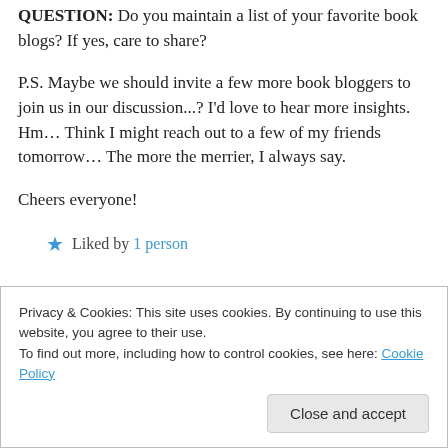QUESTION: Do you maintain a list of your favorite book blogs? If yes, care to share?
P.S. Maybe we should invite a few more book bloggers to join us in our discussion...? I'd love to hear more insights. Hm… Think I might reach out to a few of my friends tomorrow… The more the merrier, I always say.
Cheers everyone!
★ Liked by 1 person
Privacy & Cookies: This site uses cookies. By continuing to use this website, you agree to their use. To find out more, including how to control cookies, see here: Cookie Policy
Close and accept